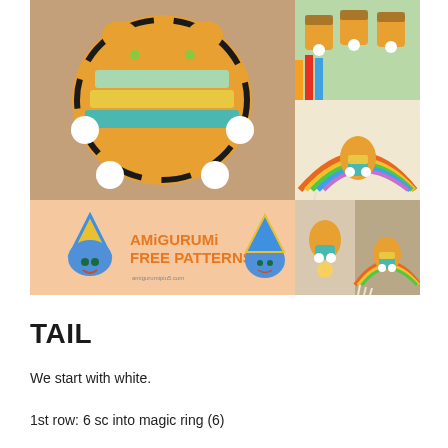[Figure (photo): Collage of photos showing crocheted amigurumi tiger toys with colorful striped bodies and white pom-poms, displayed in various settings including a peach background with 'Amigurumi Free Patterns' text, against a rainbow macrame, and small figurines on a table.]
TAIL
We start with white.
1st row: 6 sc into magic ring (6)